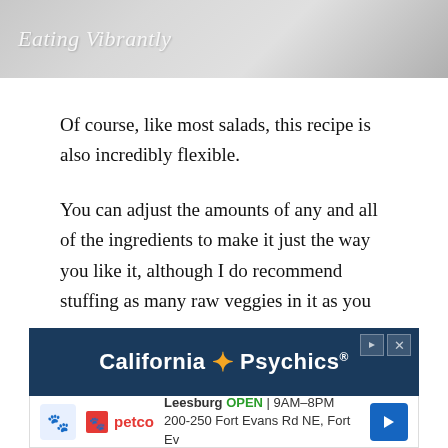[Figure (photo): A photo of a food dish with 'Eating Vibrantly' watermark text overlaid in cursive white script on a grey/white background.]
Of course, like most salads, this recipe is also incredibly flexible.
You can adjust the amounts of any and all of the ingredients to make it just the way you like it, although I do recommend stuffing as many raw veggies in it as you can.
And not just because it's good for you either. The veggies make it taste better. Honestly.
[Figure (screenshot): Advertisement banner. Top: dark blue background with 'California Psychics' logo in white bold text with orange star. Bottom: Petco advertisement showing 'Leesburg OPEN 9AM-8PM 200-250 Fort Evans Rd NE, Fort Ev' with navigation arrow.]